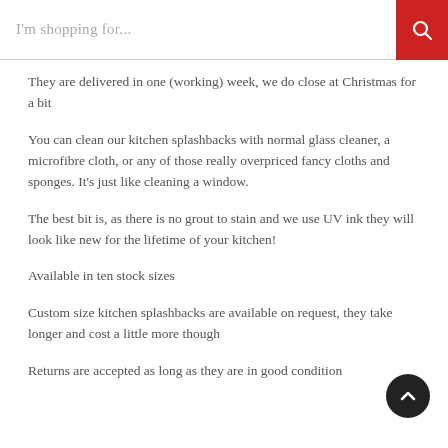I'm shopping for...
They are delivered in one (working) week, we do close at Christmas for a bit
You can clean our kitchen splashbacks with normal glass cleaner, a microfibre cloth, or any of those really overpriced fancy cloths and sponges. It's just like cleaning a window.
The best bit is, as there is no grout to stain and we use UV ink they will look like new for the lifetime of your kitchen!
Available in ten stock sizes
Custom size kitchen splashbacks are available on request, they take longer and cost a little more though
Returns are accepted as long as they are in good condition